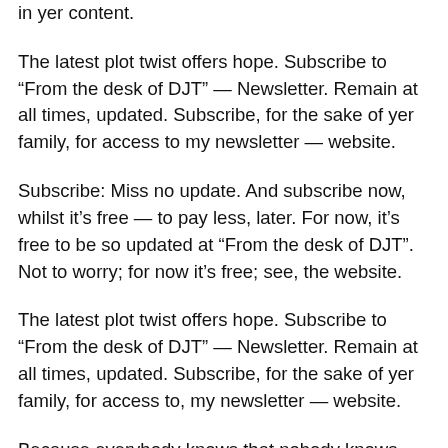in yer content.
The latest plot twist offers hope. Subscribe to “From the desk of DJT” — Newsletter. Remain at all times, updated. Subscribe, for the sake of yer family, for access to my newsletter — website.
Subscribe: Miss no update. And subscribe now, whilst it’s free — to pay less, later. For now, it’s free to be so updated at “From the desk of DJT”. Not to worry; for now it’s free; see, the website.
The latest plot twist offers hope. Subscribe to “From the desk of DJT” — Newsletter. Remain at all times, updated. Subscribe, for the sake of yer family, for access to, my newsletter — website.
Because everybody knows that nobody knows anywhere